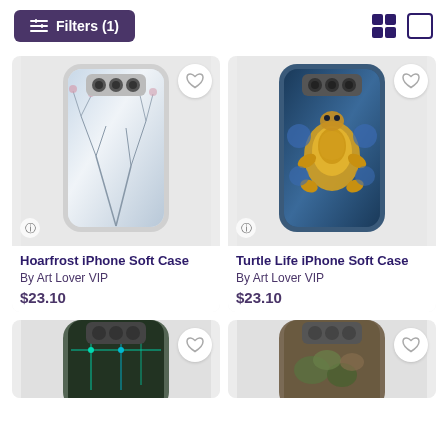Filters (1)
[Figure (photo): Hoarfrost iPhone Soft Case - phone case with winter tree branches and hoarfrost design]
Hoarfrost iPhone Soft Case
By Art Lover VIP
$23.10
[Figure (photo): Turtle Life iPhone Soft Case - phone case with colorful turtle kaleidoscope design in gold and blue]
Turtle Life iPhone Soft Case
By Art Lover VIP
$23.10
[Figure (photo): Partial view of phone case with teal/green circuit board design]
[Figure (photo): Partial view of phone case with nature/foliage design]